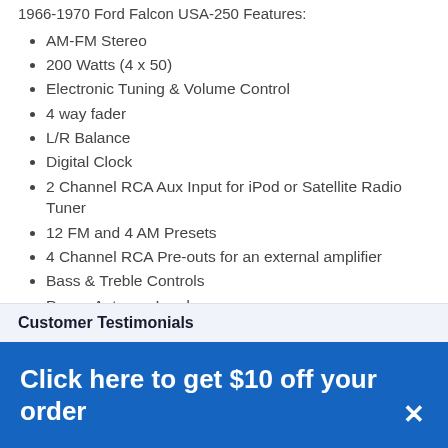1966-1970 Ford Falcon USA-250 Features:
AM-FM Stereo
200 Watts (4 x 50)
Electronic Tuning & Volume Control
4 way fader
L/R Balance
Digital Clock
2 Channel RCA Aux Input for iPod or Satellite Radio Tuner
12 FM and 4 AM Presets
4 Channel RCA Pre-outs for an external amplifier
Bass & Treble Controls
Power Antenna Lead
Customer Testimonials
Click here to get $10 off your order